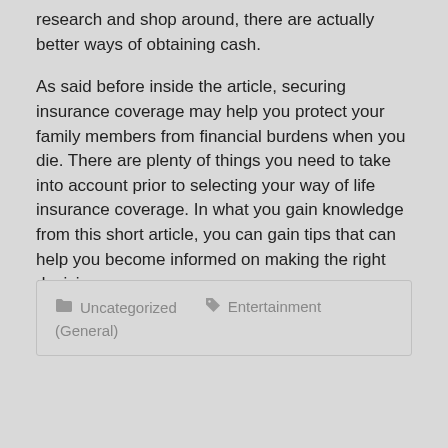research and shop around, there are actually better ways of obtaining cash.
As said before inside the article, securing insurance coverage may help you protect your family members from financial burdens when you die. There are plenty of things you need to take into account prior to selecting your way of life insurance coverage. In what you gain knowledge from this short article, you can gain tips that can help you become informed on making the right decisions…
Uncategorized   Entertainment (General)